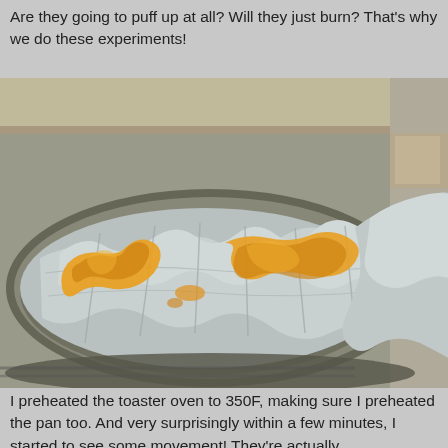Are they going to puff up at all? Will they just burn? That's why we do these experiments!
[Figure (photo): A round metal pan lined with crumpled aluminum foil sitting in a toaster oven. On the foil are melted orange/yellow candy or gummy pieces that have partially melted and spread across the foil surface.]
I preheated the toaster oven to 350F, making sure I preheated the pan too. And very surprisingly within a few minutes, I started to see some movement! They're actually